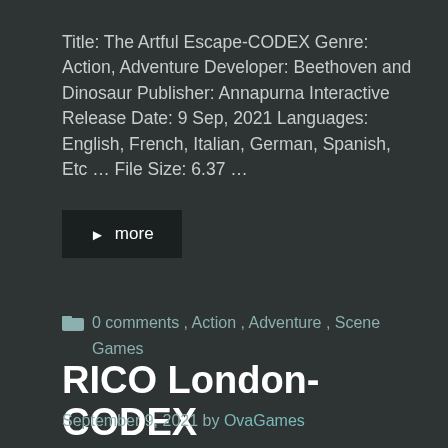Title: The Artful Escape-CODEX Genre: Action, Adventure Developer: Beethoven and Dinosaur Publisher: Annapurna Interactive Release Date: 9 Sep, 2021 Languages: English, French, Italian, German, Spanish, Etc ... File Size: 6.37 ...
► more
0 comments , Action , Adventure , Scene Games
RICO London-CODEX
September 9, 2021 by OvaGames